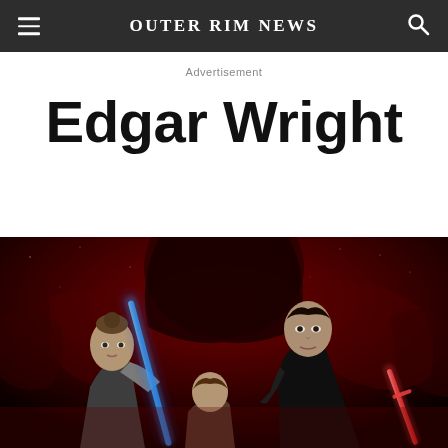Outer Rim News
Advertisement
Edgar Wright
[Figure (photo): Star Wars: The Last Jedi movie poster showing Rey holding a lightsaber, Kylo Ren, and other characters against a red background]